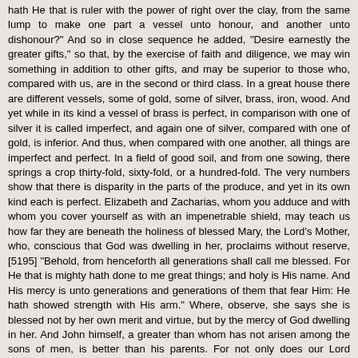hath He that is ruler with the power of right over the clay, from the same lump to make one part a vessel unto honour, and another unto dishonour?" And so in close sequence he added, "Desire earnestly the greater gifts," so that, by the exercise of faith and diligence, we may win something in addition to other gifts, and may be superior to those who, compared with us, are in the second or third class. In a great house there are different vessels, some of gold, some of silver, brass, iron, wood. And yet while in its kind a vessel of brass is perfect, in comparison with one of silver it is called imperfect, and again one of silver, compared with one of gold, is inferior. And thus, when compared with one another, all things are imperfect and perfect. In a field of good soil, and from one sowing, there springs a crop thirty-fold, sixty-fold, or a hundred-fold. The very numbers show that there is disparity in the parts of the produce, and yet in its own kind each is perfect. Elizabeth and Zacharias, whom you adduce and with whom you cover yourself as with an impenetrable shield, may teach us how far they are beneath the holiness of blessed Mary, the Lord's Mother, who, conscious that God was dwelling in her, proclaims without reserve, [5195] "Behold, from henceforth all generations shall call me blessed. For He that is mighty hath done to me great things; and holy is His name. And His mercy is unto generations and generations of them that fear Him: He hath showed strength with His arm." Where, observe, she says she is blessed not by her own merit and virtue, but by the mercy of God dwelling in her. And John himself, a greater than whom has not arisen among the sons of men, is better than his parents. For not only does our Lord compare him with men, but with angels also. And yet he, who was greater on earth than all other men, is said to be less than the least in the kingdom of heaven.